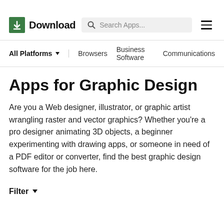Download — Search Apps...
All Platforms  Browsers  Business Software  Communications
Apps for Graphic Design
Are you a Web designer, illustrator, or graphic artist wrangling raster and vector graphics? Whether you're a pro designer animating 3D objects, a beginner experimenting with drawing apps, or someone in need of a PDF editor or converter, find the best graphic design software for the job here.
Filter